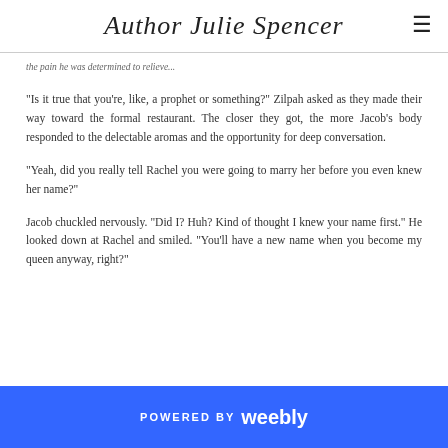Author Julie Spencer
the pain he was determined to relieve...
“Is it true that you’re, like, a prophet or something?” Zilpah asked as they made their way toward the formal restaurant. The closer they got, the more Jacob’s body responded to the delectable aromas and the opportunity for deep conversation.
“Yeah, did you really tell Rachel you were going to marry her before you even knew her name?”
Jacob chuckled nervously. “Did I? Huh? Kind of thought I knew your name first.” He looked down at Rachel and smiled. “You’ll have a new name when you become my queen anyway, right?”
POWERED BY weebly